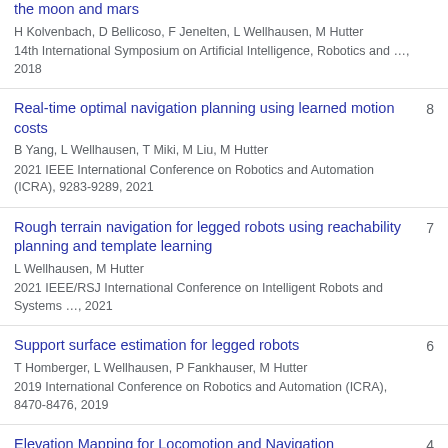the moon and mars
H Kolvenbach, D Bellicoso, F Jenelten, L Wellhausen, M Hutter
14th International Symposium on Artificial Intelligence, Robotics and …, 2018
Real-time optimal navigation planning using learned motion costs
B Yang, L Wellhausen, T Miki, M Liu, M Hutter
2021 IEEE International Conference on Robotics and Automation (ICRA), 9283-9289, 2021
8
Rough terrain navigation for legged robots using reachability planning and template learning
L Wellhausen, M Hutter
2021 IEEE/RSJ International Conference on Intelligent Robots and Systems …, 2021
7
Support surface estimation for legged robots
T Homberger, L Wellhausen, P Fankhauser, M Hutter
2019 International Conference on Robotics and Automation (ICRA), 8470-8476, 2019
6
Elevation Mapping for Locomotion and Navigation
4